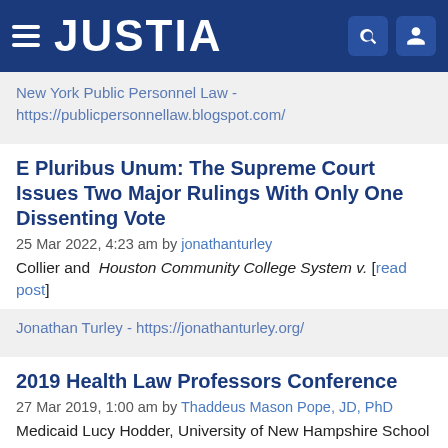JUSTIA
New York Public Personnel Law - https://publicpersonnellaw.blogspot.com/
E Pluribus Unum: The Supreme Court Issues Two Major Rulings With Only One Dissenting Vote
25 Mar 2022, 4:23 am by jonathanturley
Collier and Houston Community College System v. [read post]
Jonathan Turley - https://jonathanturley.org/
2019 Health Law Professors Conference
27 Mar 2019, 1:00 am by Thaddeus Mason Pope, JD, PhD
Medicaid Lucy Hodder, University of New Hampshire School of Law, Implementing a Medicaid Work